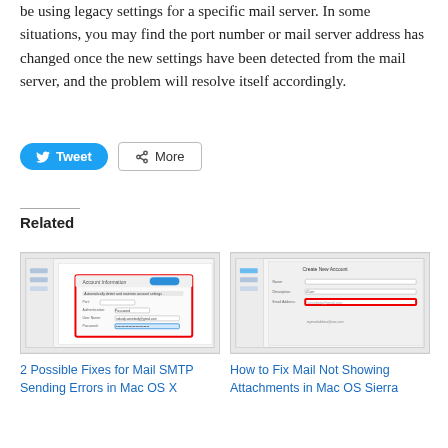be using legacy settings for a specific mail server. In some situations, you may find the port number or mail server address has changed once the new settings have been detected from the mail server, and the problem will resolve itself accordingly.
[Figure (screenshot): Tweet and More social sharing buttons]
Related
[Figure (screenshot): Screenshot of Mac OS X Mail SMTP settings dialog with red highlighted box around account information fields]
2 Possible Fixes for Mail SMTP Sending Errors in Mac OS X
[Figure (screenshot): Screenshot of Mac OS X Mail showing attachments settings with red highlighted box around email address field]
How to Fix Mail Not Showing Attachments in Mac OS Sierra